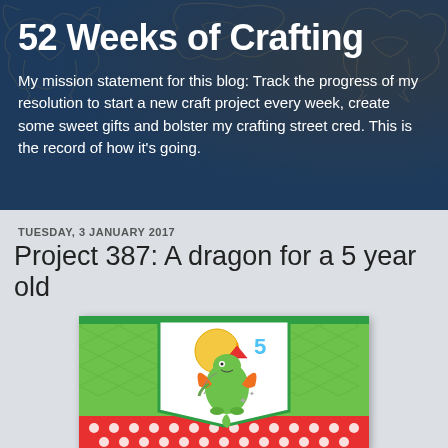52 Weeks of Crafting
My mission statement for this blog: Track the progress of my resolution to start a new craft project every week, create some sweet gifts and bolster my crafting street cred. This is the record of how it's going.
TUESDAY, 3 JANUARY 2017
Project 387: A dragon for a 5 year old
[Figure (photo): A birthday card featuring a cute cartoon green dragon wearing a party hat and holding a balloon, with a blue number 5, on a green embossed background with red and white polka dot strip at the bottom.]